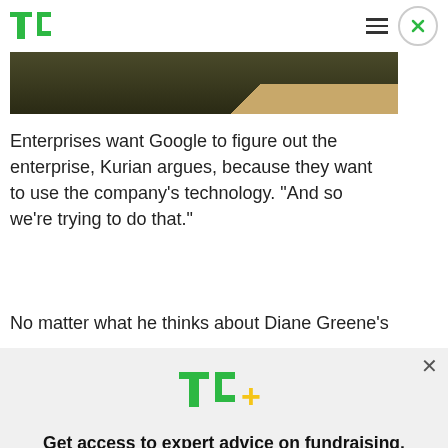TechCrunch header with TC logo, hamburger menu, and close button
[Figure (photo): Dark olive/brown gradient background photo strip, partially cropped, with a diagonal light streak]
Enterprises want Google to figure out the enterprise, Kurian argues, because they want to use the company’s technology. “And so we’re trying to do that.”
No matter what he thinks about Diane Greene’s
[Figure (other): TC+ promotional overlay with TC+ logo, headline: Get access to expert advice on fundraising, growth, and management for your startup. Explore Now button, and X close button]